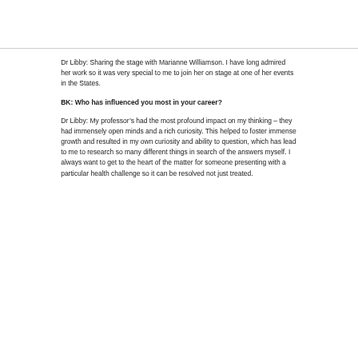Dr Libby: Sharing the stage with Marianne Williamson. I have long admired her work so it was very special to me to join her on stage at one of her events in the States.
BK: Who has influenced you most in your career?
Dr Libby: My professor’s had the most profound impact on my thinking – they had immensely open minds and a rich curiosity. This helped to foster immense growth and resulted in my own curiosity and ability to question, which has lead to me to research so many different things in search of the answers myself. I always want to get to the heart of the matter for someone presenting with a particular health challenge so it can be resolved not just treated.